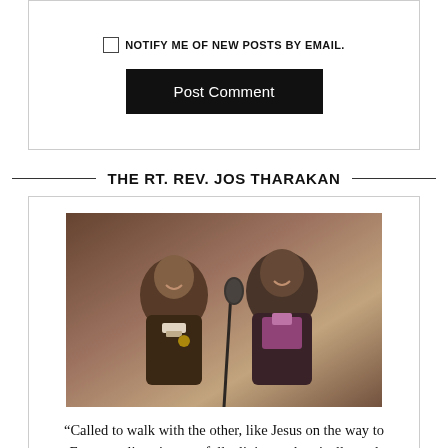NOTIFY ME OF NEW POSTS BY EMAIL.
Post Comment
THE RT. REV. JOS THARAKAN
[Figure (photo): Two men in clerical attire speaking at a microphone, smiling at each other. One wears black clergy shirt with clerical collar, the other wears purple bishop's vestments.]
“Called to walk with the other, like Jesus on the way to Emmaus, listening carefully, living authentically, and loving genuinely.